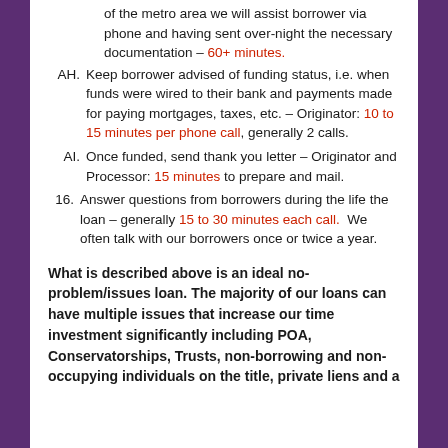of the metro area we will assist borrower via phone and having sent over-night the necessary documentation – 60+ minutes.
AH. Keep borrower advised of funding status, i.e. when funds were wired to their bank and payments made for paying mortgages, taxes, etc. – Originator: 10 to 15 minutes per phone call, generally 2 calls.
AI. Once funded, send thank you letter – Originator and Processor: 15 minutes to prepare and mail.
16. Answer questions from borrowers during the life the loan – generally 15 to 30 minutes each call.  We often talk with our borrowers once or twice a year.
What is described above is an ideal no-problem/issues loan. The majority of our loans can have multiple issues that increase our time investment significantly including POA, Conservatorships, Trusts, non-borrowing and non-occupying individuals on the title, private liens and a